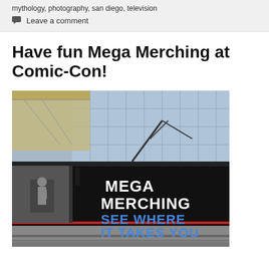mythology, photography, san diego, television
Leave a comment
Have fun Mega Merching at Comic-Con!
[Figure (photo): A black train/trolley wrapped with 'MEGA MERCHING SEE WHERE IT TAKES YOU' branding text in white and blue letters, photographed at a transit station with a glass building in the background.]